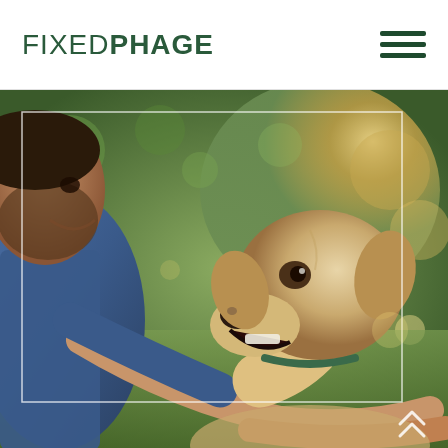FIXED PHAGE
[Figure (photo): A bearded man in a denim jacket holding and looking at a golden/yellow Labrador puppy outdoors in a sunny park setting with green bokeh background. A white decorative border frame is overlaid on the image. Two white chevrons pointing upward are visible in the bottom right corner.]